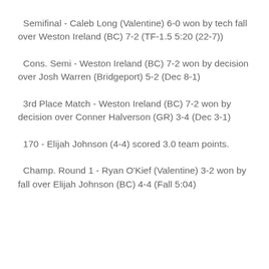Semifinal - Caleb Long (Valentine) 6-0 won by tech fall over Weston Ireland (BC) 7-2 (TF-1.5 5:20 (22-7))
Cons. Semi - Weston Ireland (BC) 7-2 won by decision over Josh Warren (Bridgeport) 5-2 (Dec 8-1)
3rd Place Match - Weston Ireland (BC) 7-2 won by decision over Conner Halverson (GR) 3-4 (Dec 3-1)
170 - Elijah Johnson (4-4) scored 3.0 team points.
Champ. Round 1 - Ryan O'Kief (Valentine) 3-2 won by fall over Elijah Johnson (BC) 4-4 (Fall 5:04)